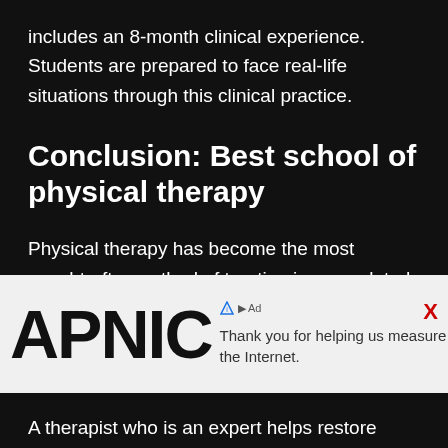includes an 8-month clinical experience. Students are prepared to face real-life situations through this clinical practice.
Conclusion: Best school of physical therapy
Physical therapy has become the most sought-after method of treating issues related to the mobility and movement of the patient. This is because it helps to resolve this health issue without having to
[Figure (other): APNIC advertisement banner with logo text 'APNIC' and message 'Thank you for helping us measure the Internet.' with a close button X]
A therapist who is an expert helps restore